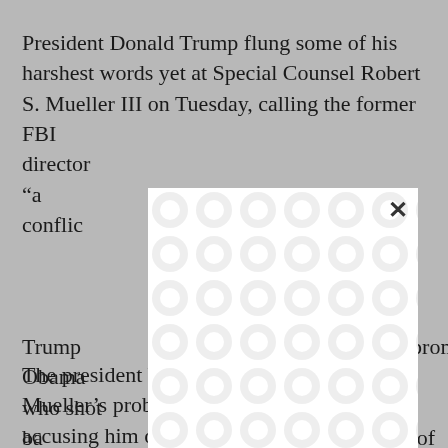President Donald Trump flung some of his harshest words yet at Special Counsel Robert S. Mueller III on Tuesday, calling the former FBI director [obscured] aign “a conflic[obscured]
[Figure (other): A white overlay box with a repeating circular chain-link pattern in light gray, covering part of the text. Has a close (X) button in the upper right.]
Trump [obscured] prom[obscured] hior Obama[obscured] n, who shot ba[obscured] of inferio[obscured] culpab[obscured]
The president began by again labeling Mueller’s probe a “Phony Witch Hunt” and accusing him of